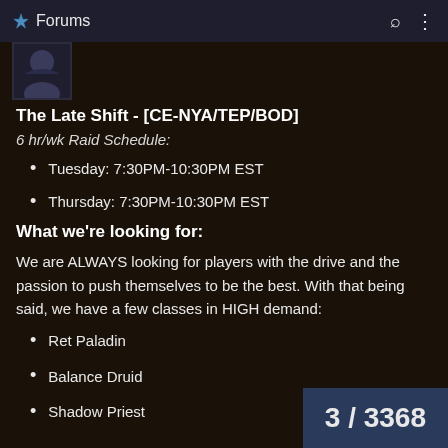Forums
The Late Shift - [CE-NYA/TEP/BOD]
6 hr/wk Raid Schedule:
Tuesday: 7:30PM-10:30PM EST
Thursday: 7:30PM-10:30PM EST
What we're looking for:
We are ALWAYS looking for players with the drive and the passion to push themselves to be the best. With that being said, we have a few classes in HIGH demand:
Ret Paladin
Balance Druid
Shadow Priest
3 / 3368